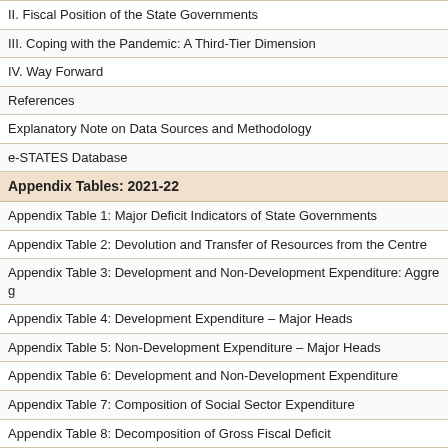II. Fiscal Position of the State Governments
III. Coping with the Pandemic: A Third-Tier Dimension
IV. Way Forward
References
Explanatory Note on Data Sources and Methodology
e-STATES Database
Appendix Tables: 2021-22
Appendix Table 1: Major Deficit Indicators of State Governments
Appendix Table 2: Devolution and Transfer of Resources from the Centre
Appendix Table 3: Development and Non-Development Expenditure: Aggregate
Appendix Table 4: Development Expenditure – Major Heads
Appendix Table 5: Non-Development Expenditure – Major Heads
Appendix Table 6: Development and Non-Development Expenditure
Appendix Table 7: Composition of Social Sector Expenditure
Appendix Table 8: Decomposition of Gross Fiscal Deficit
Appendix Table 9: Financing of Gross Fiscal Deficit
Appendix Table 10: Financing of Gross Fiscal Deficit – As Per cent of Total
Appendix Table 11: Composition of Outstanding Liabilities of State Governments
Appendix Table 12: Composition of Outstanding Liabilities of State Governments
Appendix Table 13: State Government Market Borrowings